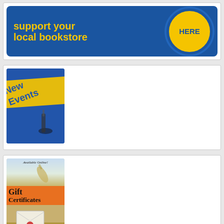[Figure (illustration): Support your local bookstore HERE button - blue rounded banner with yellow text and a yellow circular button]
[Figure (illustration): New Events banner - blue background with diagonal yellow banner text and spotlight/champagne bottle imagery]
[Figure (illustration): Gift Certificates Available Online - orange banner with bottle image and envelope, Diesel bookstore branding]